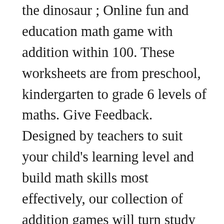the dinosaur ; Online fun and education math game with addition within 100. These worksheets are from preschool, kindergarten to grade 6 levels of maths. Give Feedback. Designed by teachers to suit your child's learning level and build math skills most effectively, our collection of addition games will turn study time into play time. Kids practice two-digit addition to 100 in this action-packed number line game. Match the ladybird doubles on the top row with the numbers on the bottom row. The player answers the question correctly and has a chance to take the shot. Description: Destroy balls by forming pairs that add up to 10. Learn how to manually add games in GeForce